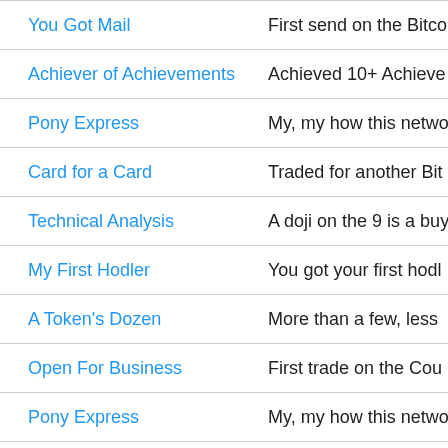| Name | Description |
| --- | --- |
| You Got Mail | First send on the Bitco |
| Achiever of Achievements | Achieved 10+ Achieve |
| Pony Express | My, my how this netwo |
| Card for a Card | Traded for another Bit |
| Technical Analysis | A doji on the 9 is a buy |
| My First Hodler | You got your first hodl |
| A Token's Dozen | More than a few, less |
| Open For Business | First trade on the Cou |
| Pony Express | My, my how this netwo |